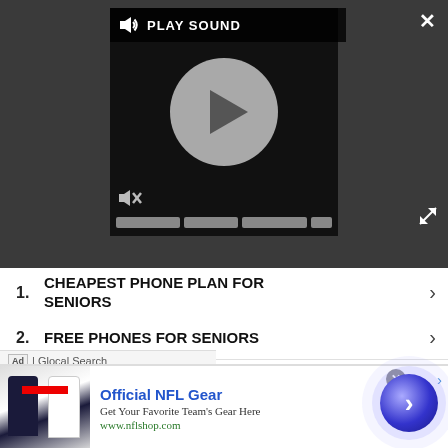[Figure (screenshot): Video player overlay with play sound button, play circle, mute icon, and progress bars on dark background]
1. CHEAPEST PHONE PLAN FOR SENIORS
2. FREE PHONES FOR SENIORS
3. GALAXY S22 ULTRA DEALS
4. $400 OFF MOTOROLA COUPON CODES
5. BEST FLIP PHONE
Ad | Glocal Search
[Figure (screenshot): NFL Gear advertisement banner with jersey image, Official NFL Gear heading, Get Your Favorite Team's Gear Here, www.nflshop.com, blue arrow circle button]